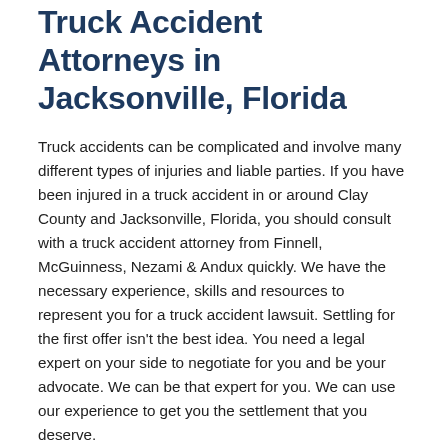Truck Accident Attorneys in Jacksonville, Florida
Truck accidents can be complicated and involve many different types of injuries and liable parties. If you have been injured in a truck accident in or around Clay County and Jacksonville, Florida, you should consult with a truck accident attorney from Finnell, McGuinness, Nezami & Andux quickly. We have the necessary experience, skills and resources to represent you for a truck accident lawsuit. Settling for the first offer isn't the best idea. You need a legal expert on your side to negotiate for you and be your advocate. We can be that expert for you. We can use our experience to get you the settlement that you deserve.